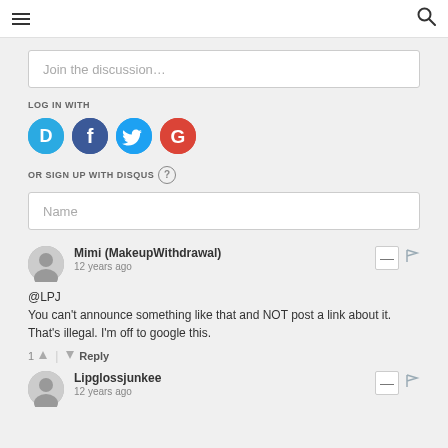≡  🔍
Join the discussion…
LOG IN WITH
[Figure (illustration): Social login icons: Disqus (blue circle with D), Facebook (dark blue circle with f), Twitter (light blue circle with bird), Google (red circle with G)]
OR SIGN UP WITH DISQUS ?
Name
Mimi (MakeupWithdrawal)
12 years ago
@LPJ
You can't announce something like that and NOT post a link about it. That's illegal. I'm off to google this.
1 ↑ | ↓ Reply
Lipglossjunkee
12 years ago